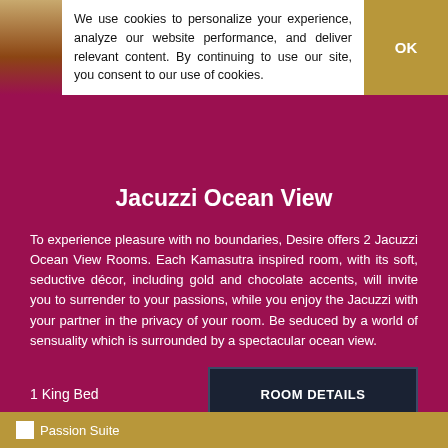We use cookies to personalize your experience, analyze our website performance, and deliver relevant content. By continuing to use our site, you consent to our use of cookies.
Jacuzzi Ocean View
To experience pleasure with no boundaries, Desire offers 2 Jacuzzi Ocean View Rooms. Each Kamasutra inspired room, with its soft, seductive décor, including gold and chocolate accents, will invite you to surrender to your passions, while you enjoy the Jacuzzi with your partner in the privacy of your room. Be seduced by a world of sensuality which is surrounded by a spectacular ocean view.
1 King Bed
ROOM DETAILS
Passion Suite